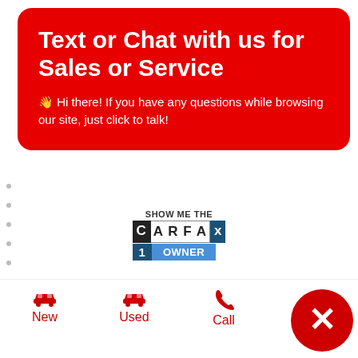Text or Chat with us for Sales or Service
👋 Hi there! If you have any questions while browsing our site, just click to talk!
[Figure (logo): SHOW ME THE CARFAX 1OWNER badge/logo]
Advertised Price $46,994
Processing Fee + $799
Sale Price* $47,793
New
Used
Call
Te…